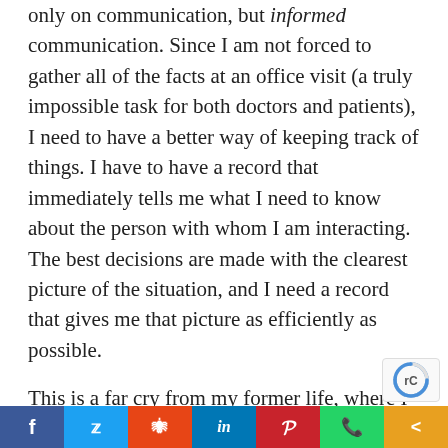only on communication, but informed communication.  Since I am not forced to gather all of the facts at an office visit (a truly impossible task for both doctors and patients), I need to have a better way of keeping track of things.  I have to have a record that immediately tells me what I need to know about the person with whom I am interacting.  The best decisions are made with the clearest picture of the situation, and I need a record that gives me that picture as efficiently as possible.
This is a far cry from my former life, where I was forced to include massive amounts of E/M vomit in every note to justify billing.  The facts were hidden in the medical record, not revealed by it.  What was the penalty for not having all the information I needed or for the bad decisions that were the result?
Share buttons: Facebook, Twitter, Reddit, LinkedIn, Pinterest, WhatsApp, More